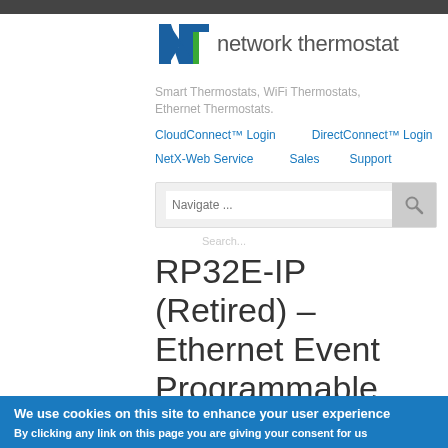[Figure (logo): Network Thermostat logo with stylized NT letters in blue and green, followed by 'network thermostat' text in gray]
Smart Thermostats, WiFi Thermostats, Ethernet Thermostats.
CloudConnect™ Login   DirectConnect™ Login
NetX-Web Service   Sales   Support
Navigate ...
Search...
RP32E-IP (Retired) – Ethernet Event Programmable Thermostat
We use cookies on this site to enhance your user experience
By clicking any link on this page you are giving your consent for us